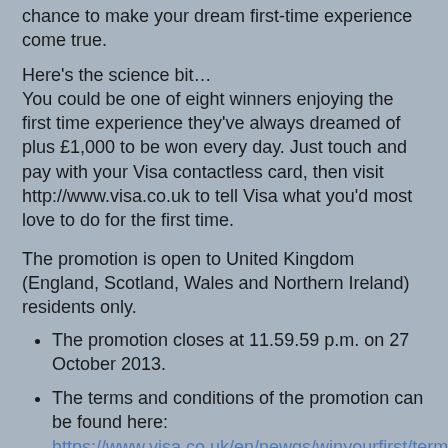chance to make your dream first-time experience come true.
Here's the science bit…
You could be one of eight winners enjoying the first time experience they've always dreamed of plus £1,000 to be won every day. Just touch and pay with your Visa contactless card, then visit http://www.visa.co.uk to tell Visa what you'd most love to do for the first time.
The promotion is open to United Kingdom (England, Scotland, Wales and Northern Ireland) residents only.
The promotion closes at 11.59.59 p.m. on 27 October 2013.
The terms and conditions of the promotion can be found here: https://www.visa.co.uk/en/newgs/winyourfirst/terms-and-conditions.aspx
So what would be my dream first-time experience…?
It's burger related, of course. To be specific, a four continent, world burger tour.